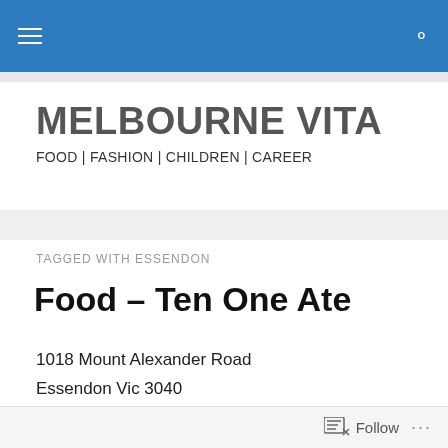MELBOURNE VITA — navigation bar
MELBOURNE VITA
FOOD | FASHION | CHILDREN | CAREER
TAGGED WITH ESSENDON
Food – Ten One Ate
1018 Mount Alexander Road
Essendon Vic 3040
[Figure (photo): Food photo showing a pink donut/pastry and other food items on a table]
Follow ...